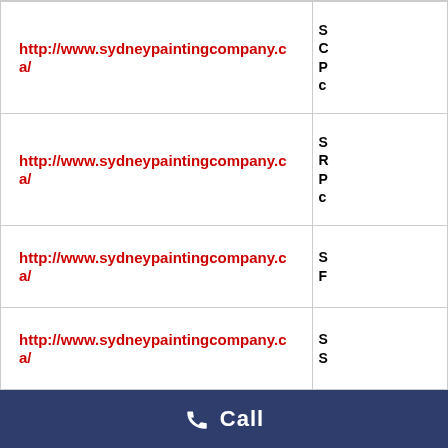| URL | Info |
| --- | --- |
| http://www.sydneypaintingcompany.ca/ | S C P c |
| http://www.sydneypaintingcompany.ca/ | S R P c |
| http://www.sydneypaintingcompany.ca/ | S F |
| http://www.sydneypaintingcompany.ca/ | S S |
| http://www.truropainters.ca/ | T In P |
| http://www.truropainters.ca/ | T C |
Call